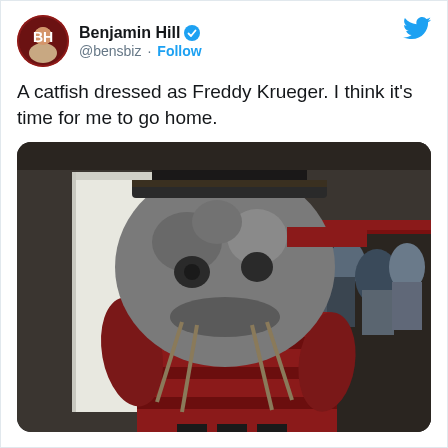[Figure (screenshot): Twitter/X tweet card screenshot. User Benjamin Hill (@bensbiz) with verified badge. Tweet text: 'A catfish dressed as Freddy Krueger. I think it's time for me to go home.' with a photo of a catfish mascot dressed in Freddy Krueger costume (red striped sweater, large catfish head) in what appears to be a stadium concourse.]
A catfish dressed as Freddy Krueger. I think it's time for me to go home.